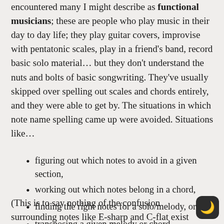encountered many I might describe as functional musicians; these are people who play music in their day to day life; they play guitar covers, improvise with pentatonic scales, play in a friend's band, record basic solo material… but they don't understand the nuts and bolts of basic songwriting. They've usually skipped over spelling out scales and chords entirely, and they were able to get by. The situations in which note name spelling came up were avoided. Situations like…
figuring out which notes to avoid in a given section,
working out which notes belong in a chord,
finding the right notes for a solo/melody, or
transposing a given melody or chord progression.
(This is to say nothing of the confusion surrounding notes like E-sharp and C-flat exist and why they help us in